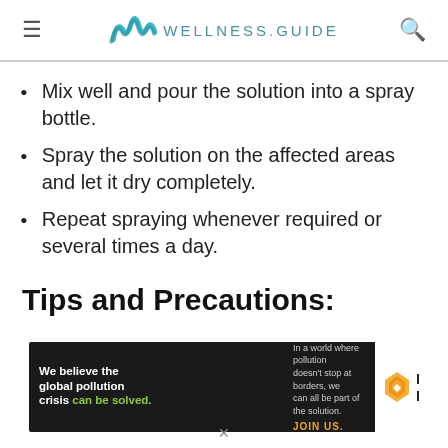WELLNESS.GUIDE
Mix well and pour the solution into a spray bottle.
Spray the solution on the affected areas and let it dry completely.
Repeat spraying whenever required or several times a day.
Tips and Precautions:
[Figure (infographic): Advertisement banner for Pure Earth showing text 'We believe the global pollution crisis can be solved.' with JOIN US call to action and Pure Earth logo with diamond icon.]